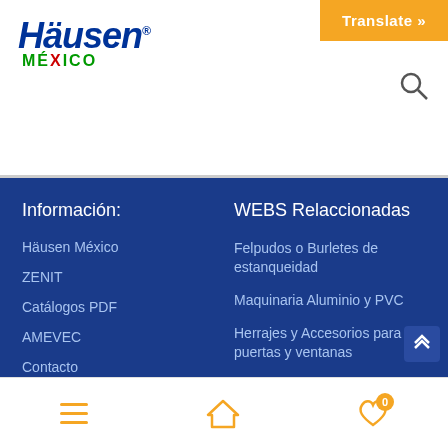[Figure (logo): Häusen México logo with blue italic text and colored México text]
[Figure (illustration): Orange Translate button and search icon in top right]
Información:
Häusen México
ZENIT
Catálogos PDF
AMEVEC
Contacto
WEBS Relaccionadas
Felpudos o Burletes de estanqueidad
Maquinaria Aluminio y PVC
Herrajes y Accesorios para puertas y ventanas
Copyright © 2022 Häusen México